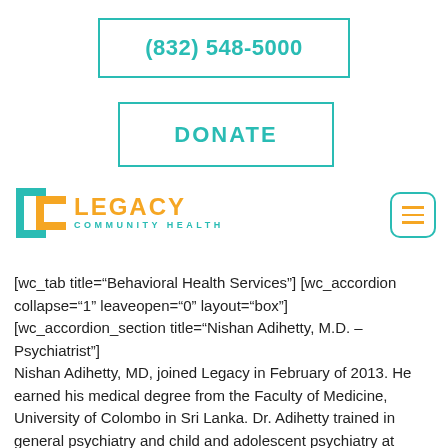(832) 548-5000
DONATE
[Figure (logo): Legacy Community Health logo with teal and orange colors]
[wc_tab title="Behavioral Health Services"] [wc_accordion collapse="1" leaveopen="0" layout="box"] [wc_accordion_section title="Nishan Adihetty, M.D. – Psychiatrist"]
Nishan Adihetty, MD, joined Legacy in February of 2013. He earned his medical degree from the Faculty of Medicine, University of Colombo in Sri Lanka. Dr. Adihetty trained in general psychiatry and child and adolescent psychiatry at